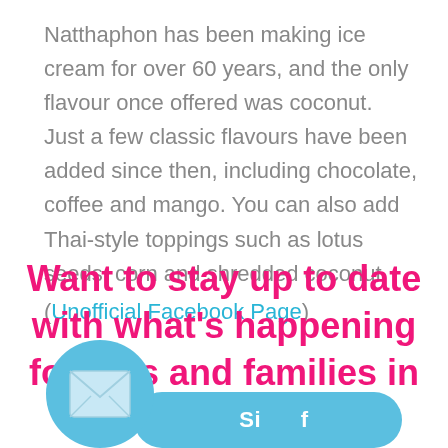Natthaphon has been making ice cream for over 60 years, and the only flavour once offered was coconut. Just a few classic flavours have been added since then, including chocolate, coffee and mango. You can also add Thai-style toppings such as lotus seeds, corn and shredded coconut.
(Unofficial Facebook Page)
Want to stay up to date with what's happening for kids and families in BKK?
[Figure (infographic): A light blue circular envelope icon overlapping a light blue rounded rectangle button showing partial text 'Si..f']